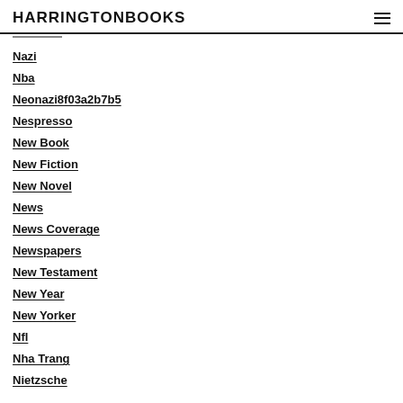HARRINGTONBOOKS
Nazi
Nba
Neonazi8f03a2b7b5
Nespresso
New Book
New Fiction
New Novel
News
News Coverage
Newspapers
New Testament
New Year
New Yorker
Nfl
Nha Trang
Nietzsche